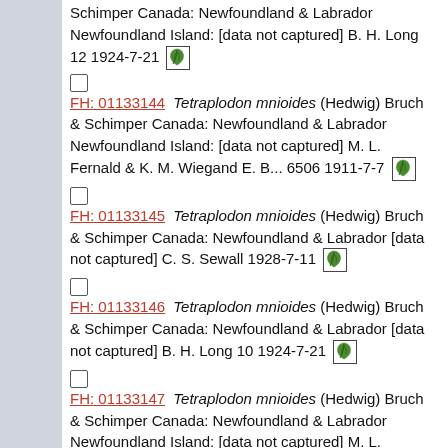Schimper Canada: Newfoundland & Labrador Newfoundland Island: [data not captured] B. H. Long 12 1924-7-21 [leaf icon]
FH: 01133144 Tetraplodon mnioides (Hedwig) Bruch & Schimper Canada: Newfoundland & Labrador Newfoundland Island: [data not captured] M. L. Fernald & K. M. Wiegand E. B... 6506 1911-7-7 [leaf icon]
FH: 01133145 Tetraplodon mnioides (Hedwig) Bruch & Schimper Canada: Newfoundland & Labrador [data not captured] C. S. Sewall 1928-7-11 [leaf icon]
FH: 01133146 Tetraplodon mnioides (Hedwig) Bruch & Schimper Canada: Newfoundland & Labrador [data not captured] B. H. Long 10 1924-7-21 [leaf icon]
FH: 01133147 Tetraplodon mnioides (Hedwig) Bruch & Schimper Canada: Newfoundland & Labrador Newfoundland Island: [data not captured] M. L. Fernald & K. M. Wiegand E. B... 6505 1911-7-7 [leaf icon]
FH: 01133148 Tetraplodon mnioides (Hedwig) Bruch & Schimper Canada: Newfoundland & Labrador Newfoundland Island: [data not captured] B. H. Long 269 1925-7-31 [leaf icon]